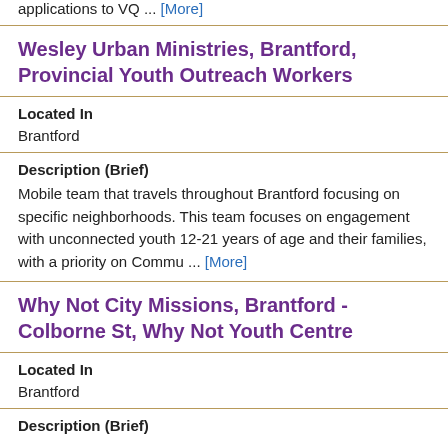applications to VQ ... [More]
Wesley Urban Ministries, Brantford, Provincial Youth Outreach Workers
Located In
Brantford
Description (Brief)
Mobile team that travels throughout Brantford focusing on specific neighborhoods. This team focuses on engagement with unconnected youth 12-21 years of age and their families, with a priority on Commu ... [More]
Why Not City Missions, Brantford - Colborne St, Why Not Youth Centre
Located In
Brantford
Description (Brief)